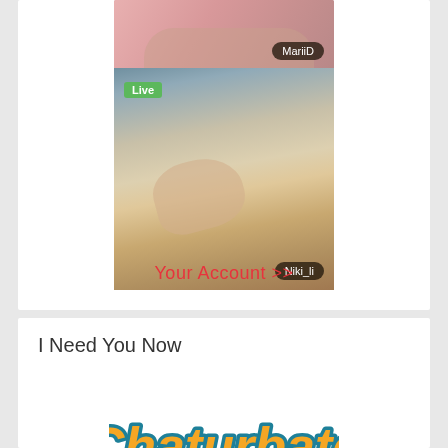[Figure (screenshot): Live webcam thumbnails showing two users: MariiD and Niki_li with a Live badge]
Your Account >>
I Need You Now
[Figure (logo): Chaturbate logo in orange and teal script lettering]